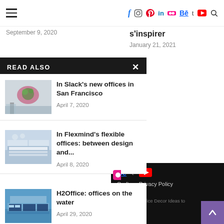Navigation bar with hamburger menu and social icons: f, instagram, pinterest, in, flickr, Be, t, youtube, search
September 9, 2020
s'inspirer
January 21, 2021
READ ALSO
[Figure (photo): Interior of Slack's new offices in San Francisco - open area with a large round seating island and plants]
In Slack's new offices in San Francisco
April 7, 2020
[Figure (photo): Interior of Flexmind's flexible offices - open workspace with long tables and people working]
In Flexmind's flexible offices: between design and...
April 8, 2020
[Figure (photo): H2Office floating offices on the water with blue water and a dock]
H2Office: offices on the water
April 29, 2020
Be t [youtube] Crafter Privacy Policy us atter.com : Office Decor Ideas to s Best Work.